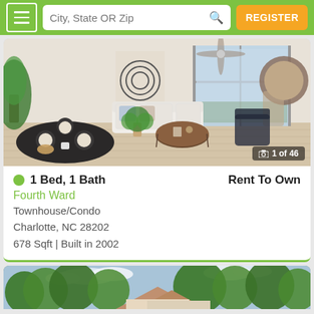City, State OR Zip | REGISTER
[Figure (photo): Interior photo of a modern apartment living room with white sofa, round coffee table, ceiling fan, floor-to-ceiling windows, dining table, and decorative mirror. Caption overlay: 1 of 46.]
1 Bed, 1 Bath   Rent To Own
Fourth Ward
Townhouse/Condo
Charlotte, NC 28202
678 Sqft | Built in 2002
[Figure (photo): Exterior photo of a residential house with trees and blue sky visible, partially shown at bottom of page.]